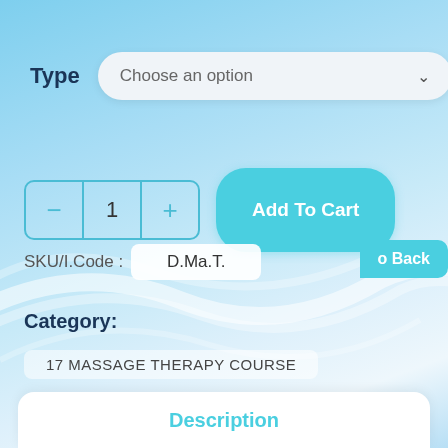Type
Choose an option
- 1 +
Add To Cart
SKU/I.Code : D.Ma.T.
o Back
Category:
17 MASSAGE THERAPY COURSE
Description